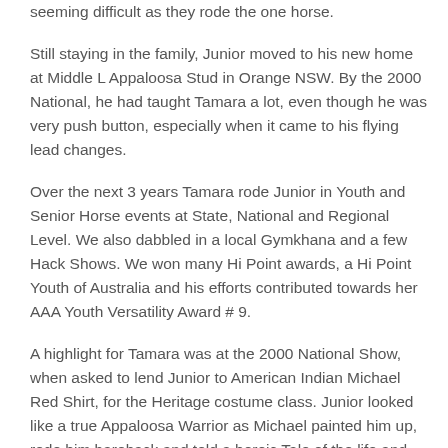seeming difficult as they rode the one horse.
Still staying in the family, Junior moved to his new home at Middle L Appaloosa Stud in Orange NSW. By the 2000 National, he had taught Tamara a lot, even though he was very push button, especially when it came to his flying lead changes.
Over the next 3 years Tamara rode Junior in Youth and Senior Horse events at State, National and Regional Level. We also dabbled in a local Gymkhana and a few Hack Shows. We won many Hi Point awards, a Hi Point Youth of Australia and his efforts contributed towards her AAA Youth Versatility Award # 9.
A highlight for Tamara was at the 2000 National Show, when asked to lend Junior to American Indian Michael Red Shirt, for the Heritage costume class. Junior looked like a true Appaloosa Warrior as Michael painted him up, rode him bareback and told a heroic Tale of the life and battles of the American Indian Warrior.